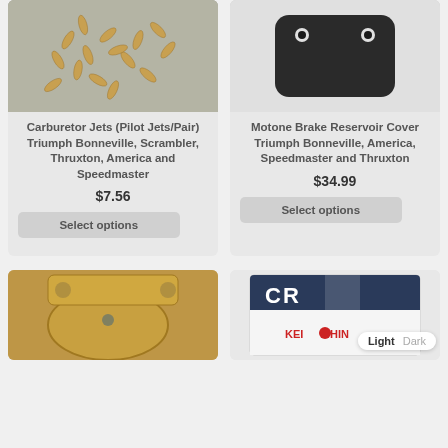[Figure (photo): Carburetor pilot jets, multiple brass colored small cylindrical pieces scattered on a gray surface]
Carburetor Jets (Pilot Jets/Pair) Triumph Bonneville, Scrambler, Thruxton, America and Speedmaster
$7.56
Select options
[Figure (photo): Motone brake reservoir cover, a flat black rectangular cover with two mounting holes, on white background]
Motone Brake Reservoir Cover Triumph Bonneville, America, Speedmaster and Thruxton
$34.99
Select options
[Figure (photo): Close-up of a motorcycle part, golden/brass colored mechanical component]
[Figure (photo): Keihin CR carburetor product box, white box with CR branding and Keihin logo visible]